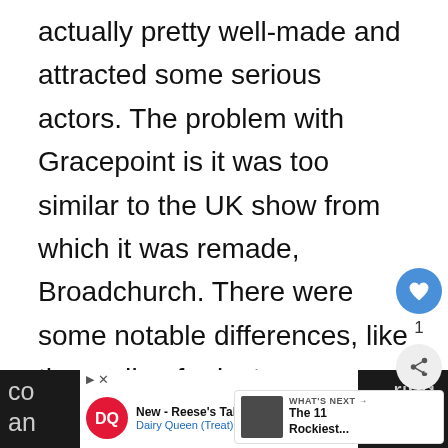actually pretty well-made and attracted some serious actors. The problem with Gracepoint is it was too similar to the UK show from which it was remade, Broadchurch. There were some notable differences, like the ending for instance. However, almost half of its run was just the same show with mostly different actors. David Tennant played the same character in both versions but in the version he used a distracting Ameri[can] accent. If you're going to do a remake, a
[Figure (other): Social interaction buttons: heart/like button (blue circle), count '1', share button]
[Figure (other): What's Next thumbnail panel showing 'The 11 Rockiest...' with a dark image thumbnail]
[Figure (other): Advertisement banner: Dairy Queen - New - Reese's Take 5 Blizzard® Dairy Queen (Treat) with DQ logo and blue arrow button]
co[ntinuing] ring. an way to